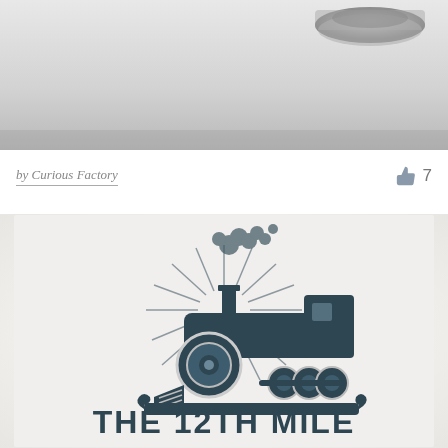[Figure (photo): Top portion of page showing a photographed object on a light gray gradient background, partially cropped]
by Curious Factory   👍 7
[Figure (logo): Logo for 'The 12th Mile' featuring a vintage steam locomotive with sunburst rays behind it, on a light gray textured background. Text reads THE 12TH MILE in bold dark teal serif letters.]